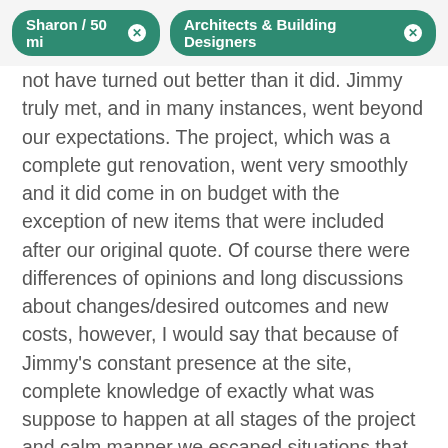Sharon / 50 mi  ×   Architects & Building Designers  ×
not have turned out better than it did. Jimmy truly met, and in many instances, went beyond our expectations. The project, which was a complete gut renovation, went very smoothly and it did come in on budget with the exception of new items that were included after our original quote. Of course there were differences of opinions and long discussions about changes/desired outcomes and new costs, however, I would say that because of Jimmy's constant presence at the site, complete knowledge of exactly what was suppose to happen at all stages of the project and calm manner we escaped situations that could, at the time, have been less satisfactory. Jimmy, the associates and clerical employees of his firm are all a 10 in my book! My experience with Crisp Architects makes me believe that anyone seeking a great architect, backed by a most professional staff, could not do